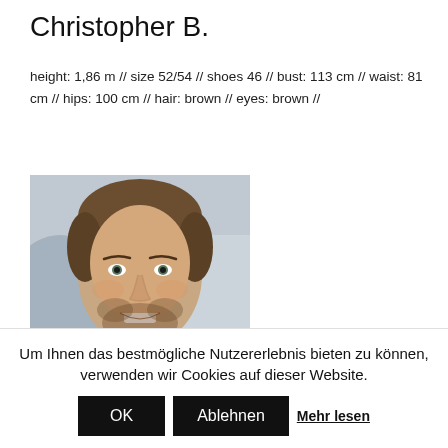Christopher B.
height: 1,86 m // size 52/54 // shoes 46 // bust: 113 cm // waist: 81 cm // hips: 100 cm // hair: brown // eyes: brown //
[Figure (photo): Headshot photo of a smiling man with brown hair and beard wearing a light grey top, against a blurred blue/white background.]
Um Ihnen das bestmögliche Nutzererlebnis bieten zu können, verwenden wir Cookies auf dieser Website.